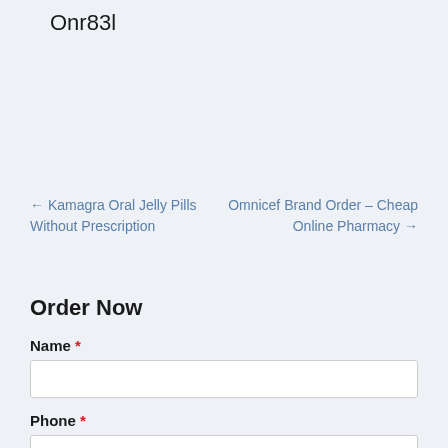Onr83l
← Kamagra Oral Jelly Pills Without Prescription
Omnicef Brand Order – Cheap Online Pharmacy →
Order Now
Name *
Phone *
Email *